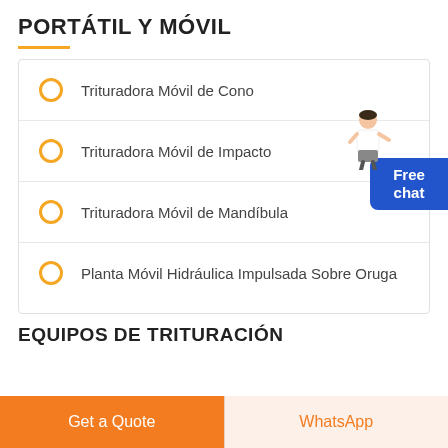PORTÁTIL Y MÓVIL
Trituradora Móvil de Cono
Trituradora Móvil de Impacto
Trituradora Móvil de Mandíbula
Planta Móvil Hidráulica Impulsada Sobre Oruga
EQUIPOS DE TRITURACIÓN
Get a Quote
WhatsApp